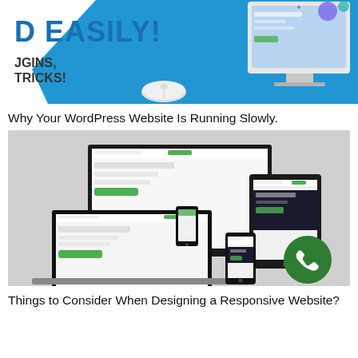[Figure (illustration): Partial view of a blue and white WordPress promotional graphic with text 'D EASILY!', 'JGINS,', 'TRICKS!' on a blue diagonal background with a computer monitor, mouse, and white shapes.]
Why Your WordPress Website Is Running Slowly.
[Figure (screenshot): Screenshot showing a website displayed across multiple responsive devices: desktop monitor, laptop, tablet, and smartphone. Website has green and white color scheme. A green phone/call icon circle is visible in the bottom right corner.]
Things to Consider When Designing a Responsive Website?